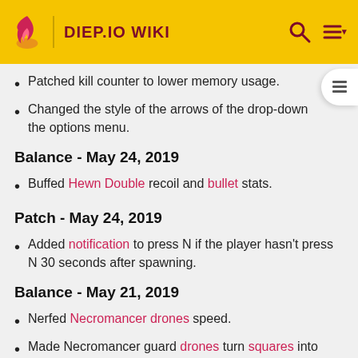DIEP.IO WIKI
Patched kill counter to lower memory usage.
Changed the style of the arrows of the drop-down the options menu.
Balance - May 24, 2019
Buffed Hewn Double recoil and bullet stats.
Patch - May 24, 2019
Added notification to press N if the player hasn't press N 30 seconds after spawning.
Balance - May 21, 2019
Nerfed Necromancer drones speed.
Made Necromancer guard drones turn squares into regular drones instead of other guard drones.
Balance - May 20, 2019